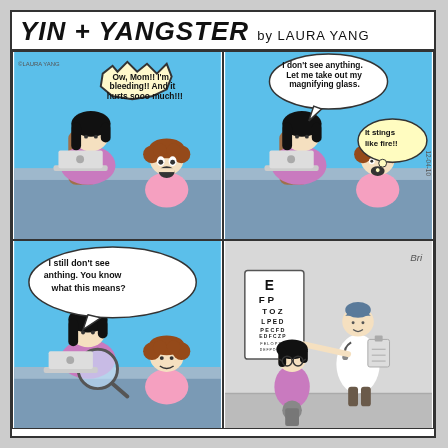YIN + YANGSTER by LAURA YANG
[Figure (illustration): Comic strip panel 1: A cartoon character with black hair sits at a laptop. A child with curly hair stands beside, crying with mouth open. Speech bubble says 'Ow, Mom!! I'm bleeding!! And it hurts sooo much!!!' Copyright symbol and 'LAURA YANG' text in corner.]
[Figure (illustration): Comic strip panel 2: Same mom character at laptop. Child with curly hair beside her. White speech bubble says 'I don't see anything. Let me take out my magnifying glass.' Yellow thought bubble says 'It stings like fire!!' Date '12-04-10' on right side.]
[Figure (illustration): Comic strip panel 3: Mom character using large magnifying glass over something on desk. Child beside her. Speech bubble says 'I still don't see anthing. You know what this means?']
[Figure (illustration): Comic strip panel 4: Eye doctor's office scene. An eye chart on the wall with letters E, FP, TOZ, LPED, etc. A doctor in white coat holds clipboard. The child character sits on a stool wearing glasses. Artist signature 'Bri' or similar in top right corner.]